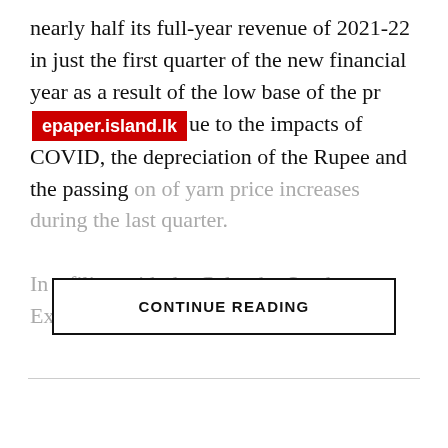nearly half its full-year revenue of 2021-22 in just the first quarter of the new financial year as a result of the low base of the pr[epaper.island.lk]ue to the impacts of COVID, the depreciation of the Rupee and the passing on of yarn price increases during the last quarter.
In a filing with the Colombo Stock Exchange (CSE), Sri
CONTINUE READING